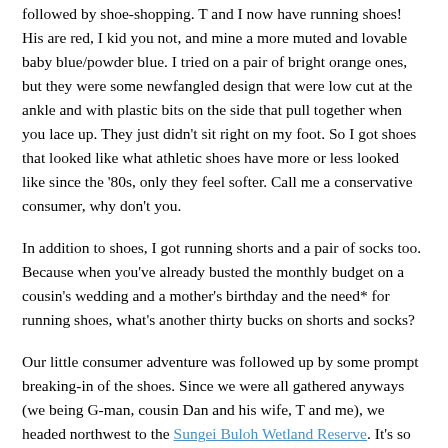followed by shoe-shopping. T and I now have running shoes! His are red, I kid you not, and mine a more muted and lovable baby blue/powder blue. I tried on a pair of bright orange ones, but they were some newfangled design that were low cut at the ankle and with plastic bits on the side that pull together when you lace up. They just didn't sit right on my foot. So I got shoes that looked like what athletic shoes have more or less looked like since the '80s, only they feel softer. Call me a conservative consumer, why don't you.
In addition to shoes, I got running shorts and a pair of socks too. Because when you've already busted the monthly budget on a cousin's wedding and a mother's birthday and the need* for running shoes, what's another thirty bucks on shorts and socks?
Our little consumer adventure was followed up by some prompt breaking-in of the shoes. Since we were all gathered anyways (we being G-man, cousin Dan and his wife, T and me), we headed northwest to the Sungei Buloh Wetland Reserve. It's so far north you can see Malaysia, which I actually mistook for Singapore because I thought at first that